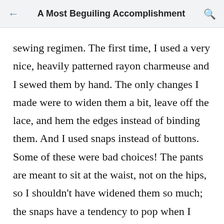A Most Beguiling Accomplishment
sewing regimen. The first time, I used a very nice, heavily patterned rayon charmeuse and I sewed them by hand. The only changes I made were to widen them a bit, leave off the lace, and hem the edges instead of binding them. And I used snaps instead of buttons. Some of these were bad choices! The pants are meant to sit at the waist, not on the hips, so I shouldn't have widened them so much; the snaps have a tendency to pop when I move, although that might not happen if they were won over a girdle the way they were intended. For the second pair, I fixed these issues